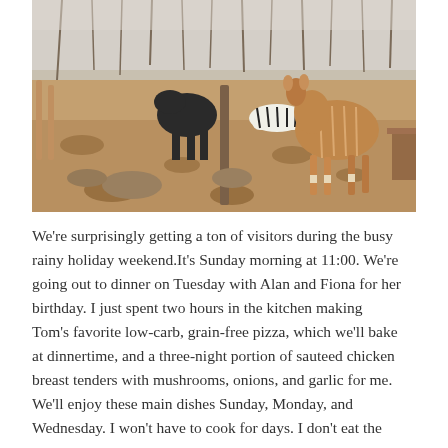[Figure (photo): Outdoor wildlife scene in a dry African savanna. Multiple animals including kudu antelope (large striped brown animal on the right), a dark wildebeest or buffalo in the center-left, a zebra lying down in the background, and deer/antelope legs visible on the far left. Sparse dry trees with bare branches. Rocky ground with scattered boulders. A wooden picnic table is visible on the far right edge.]
We're surprisingly getting a ton of visitors during the busy rainy holiday weekend.It's Sunday morning at 11:00. We're going out to dinner on Tuesday with Alan and Fiona for her birthday. I just spent two hours in the kitchen making Tom's favorite low-carb, grain-free pizza, which we'll bake at dinnertime, and a three-night portion of sauteed chicken breast tenders with mushrooms, onions, and garlic for me. We'll enjoy these main dishes Sunday, Monday, and Wednesday. I won't have to cook for days. I don't eat the